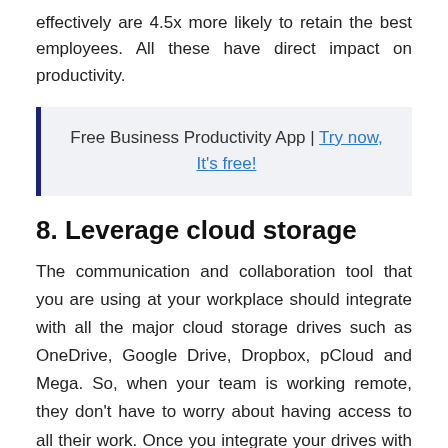effectively are 4.5x more likely to retain the best employees. All these have direct impact on productivity.
Free Business Productivity App | Try now, It's free!
8. Leverage cloud storage
The communication and collaboration tool that you are using at your workplace should integrate with all the major cloud storage drives such as OneDrive, Google Drive, Dropbox, pCloud and Mega. So, when your team is working remote, they don't have to worry about having access to all their work. Once you integrate your drives with your workplace communication tool, you will have